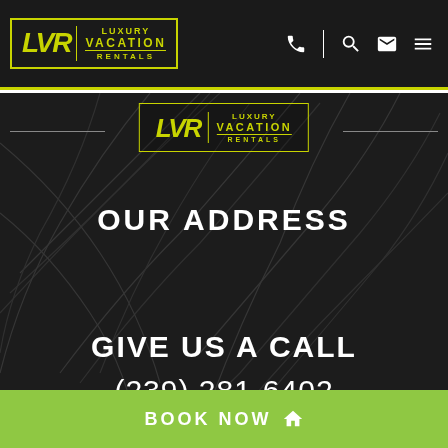LVR | LUXURY VACATION RENTALS
[Figure (logo): LVR Luxury Vacation Rentals logo centered with horizontal decorative lines on either side]
OUR ADDRESS
LUXURY VACATION RENTALS FLORIDA
276 CAROLINA AVE
FORT MYERS BEACH, FLORIDA, 33931
GIVE US A CALL
(239) 281-6402
BOOK NOW